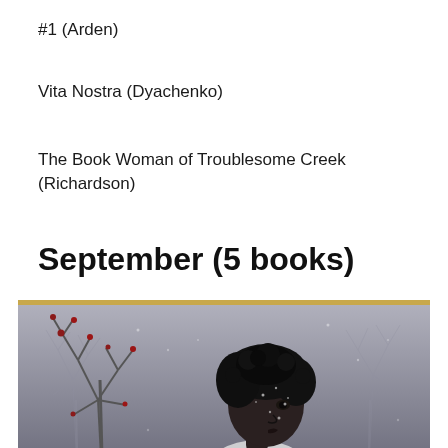#1 (Arden)
Vita Nostra (Dyachenko)
The Book Woman of Troublesome Creek (Richardson)
September (5 books)
[Figure (photo): Black and white book cover photograph showing a young Black woman with curly hair looking over her shoulder, wearing a white top, surrounded by bare winter trees with red berries/flowers, with a golden/amber horizontal bar at the top of the image]